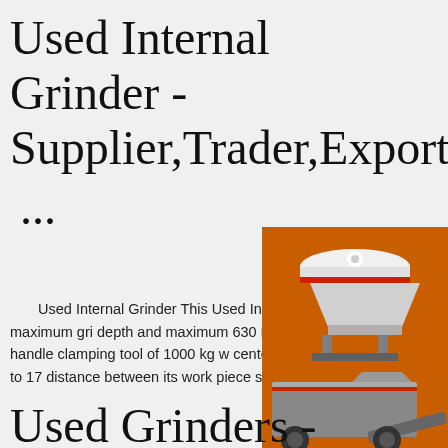Used Internal Grinder - Supplier,Trader,Exporter ...
Used Internal Grinder This Used Internal capable of maintaining 500 mm maximum gri depth and maximum 630 mm grindable bore. system can handle clamping tool of 1000 kg w center height is 560 mm. It maintains up to 17 distance between its work piece spindle nose grinding slide.
[Figure (illustration): Orange advertisement banner with images of industrial grinding/crushing machines, 'Enjoy 3% discount' label, 'Click to Chat' button, 'Enquiry' section, and email limingjlmofen@sina.com]
Used Grinders - Second Hand Grinding Machines